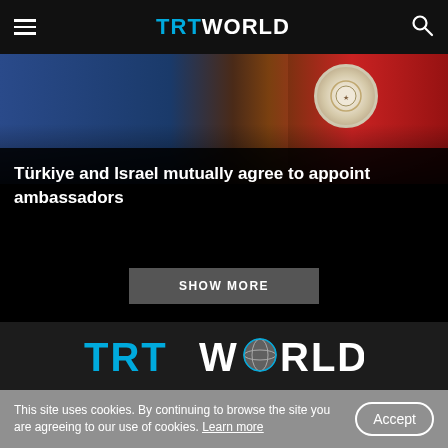TRT WORLD
[Figure (photo): News article image showing a blue background with a Turkish government emblem/seal on the right side, and red curtain/flag elements in the background]
Türkiye and Israel mutually agree to appoint ambassadors
SHOW MORE
[Figure (logo): TRT World logo — TRT in cyan/blue, WORLD in white with a globe incorporated into the O]
This site uses cookies. By continuing to browse the site you are agreeing to our use of cookies. Learn more